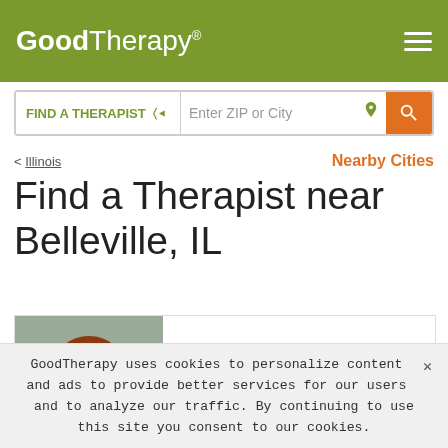GoodTherapy®
FIND A THERAPIST ∨   Enter ZIP or City
< Illinois   Nearby Cities
Find a Therapist near Belleville, IL
[Figure (photo): Profile photo of Morgan Johnson, a woman with reddish-brown hair, smiling, against a gray background]
Morgan Johnson
LCSW
Clinical Social Worker
GoodTherapy uses cookies to personalize content and ads to provide better services for our users and to analyze our traffic. By continuing to use this site you consent to our cookies.